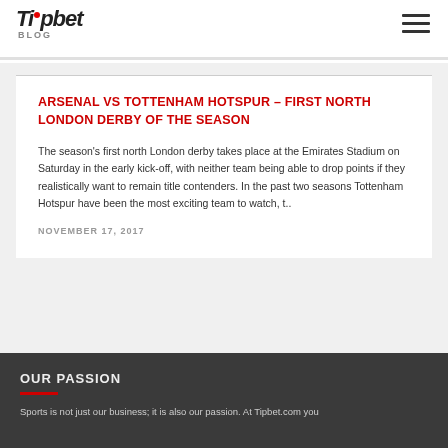Tipbet BLOG
ARSENAL VS TOTTENHAM HOTSPUR – FIRST NORTH LONDON DERBY OF THE SEASON
The season's first north London derby takes place at the Emirates Stadium on Saturday in the early kick-off, with neither team being able to drop points if they realistically want to remain title contenders. In the past two seasons Tottenham Hotspur have been the most exciting team to watch, t..
NOVEMBER 17, 2017
OUR PASSION
Sports is not just our business; it is also our passion. At Tipbet.com you